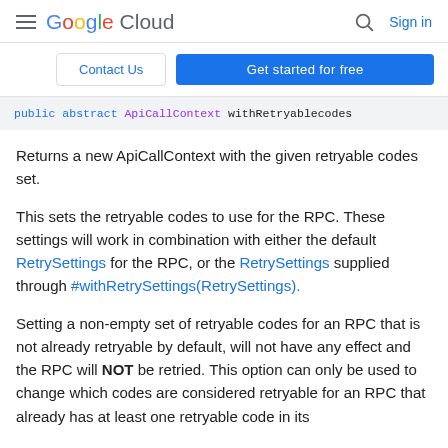Google Cloud — Search — Sign in
Contact Us | Get started for free
[Figure (screenshot): Code snippet showing: public abstract ApiCallContext withRetryableCodes]
Returns a new ApiCallContext with the given retryable codes set.
This sets the retryable codes to use for the RPC. These settings will work in combination with either the default RetrySettings for the RPC, or the RetrySettings supplied through #withRetrySettings(RetrySettings).
Setting a non-empty set of retryable codes for an RPC that is not already retryable by default, will not have any effect and the RPC will NOT be retried. This option can only be used to change which codes are considered retryable for an RPC that already has at least one retryable code in its